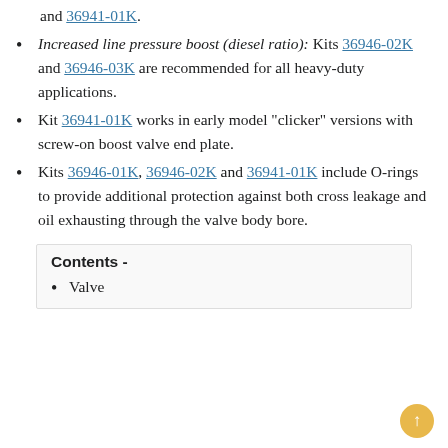and 36941-01K.
Increased line pressure boost (diesel ratio): Kits 36946-02K and 36946-03K are recommended for all heavy-duty applications.
Kit 36941-01K works in early model "clicker" versions with screw-on boost valve end plate.
Kits 36946-01K, 36946-02K and 36941-01K include O-rings to provide additional protection against both cross leakage and oil exhausting through the valve body bore.
Contents -
Valve